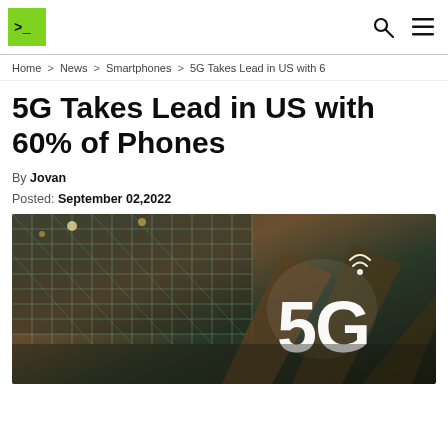>_ [logo] | search | menu
Home > News > Smartphones > 5G Takes Lead in US with 6
5G Takes Lead in US with 60% of Phones
By Jovan
Posted: September 02,2022
[Figure (photo): A 5G illuminated sign against a ceiling with geometric grid pattern and wooden beams in the background]